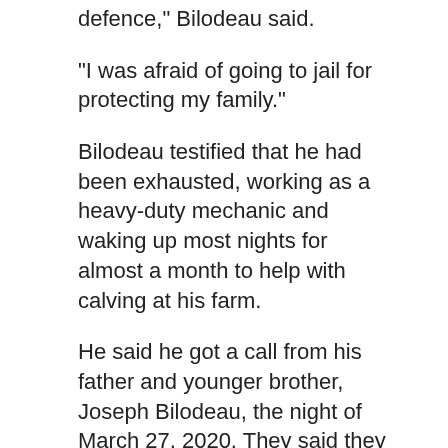defence," Bilodeau said.
"I was afraid of going to jail for protecting my family."
Bilodeau testified that he had been exhausted, working as a heavy-duty mechanic and waking up most nights for almost a month to help with calving at his farm.
He said he got a call from his father and younger brother, Joseph Bilodeau, the night of March 27, 2020. They said they were following a pickup truck that had stopped at the mouth of the driveway to their property before speeding off.
Joseph Bilodeau, who is now 18 and was not charged in the case, testified last week that he